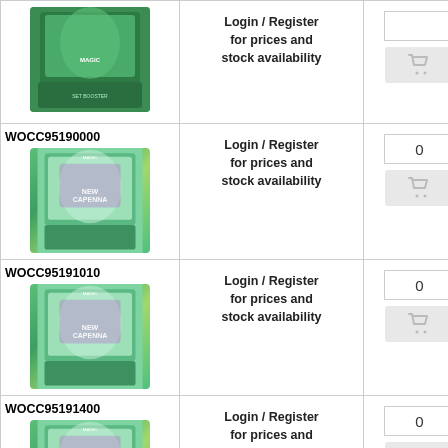| Product | Price/Availability | Qty/Action |
| --- | --- | --- |
| [image] Magic: The Gathering pack (row 1) | Login / Register for prices and stock availability | 0 | [cart] |
| WOCC95190000 [image] Streets of New Capenna | Login / Register for prices and stock availability | 0 | [cart] |
| WOCC95191010 [image] Streets of New Capenna | Login / Register for prices and stock availability | 0 | [cart] |
| WOCC95191400 [image] Streets of New Capenna | Login / Register for prices and stock availability | 0 | [cart] |